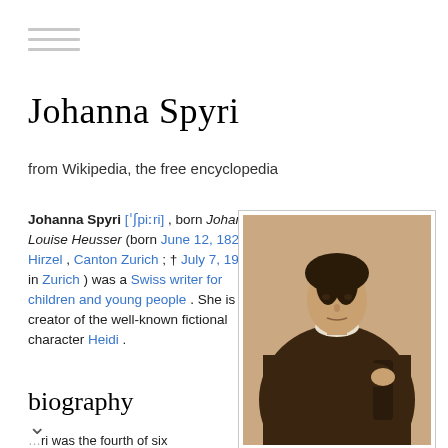[Figure (other): Hamburger menu icon with three horizontal gray lines]
Johanna Spyri
from Wikipedia, the free encyclopedia
Johanna Spyri [ˈʃpiːri] , born Johanna Louise Heusser (born June 12, 1827 in Hirzel , Canton Zurich ; † July 7, 1901 in Zurich ) was a Swiss writer for children and young people . She is the creator of the well-known fictional character Heidi .
[Figure (photo): Sepia-toned portrait photograph of Johanna Spyri seated, wearing a Victorian-era dark dress with a white collar]
Johanna Spyri
[Figure (illustration): Johanna Spyri's handwritten signature in cursive script]
biography
ri was the fourth of six